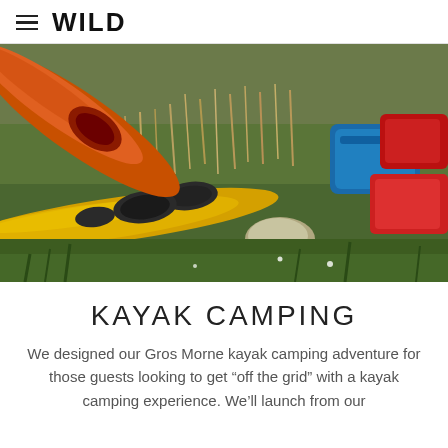WILD
[Figure (photo): Kayaks and camping gear resting on grass — yellow kayak in foreground with hatch covers visible, orange kayak tilted behind it, blue and red gear bags to the right, tall dry grass surrounding.]
KAYAK CAMPING
We designed our Gros Morne kayak camping adventure for those guests looking to get “off the grid” with a kayak camping experience. We’ll launch from our